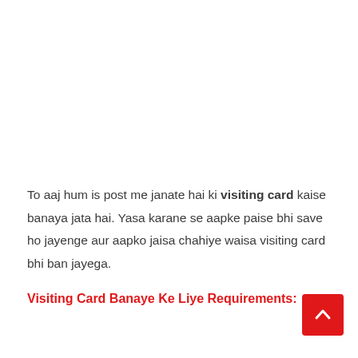To aaj hum is post me janate hai ki visiting card kaise banaya jata hai. Yasa karane se aapke paise bhi save ho jayenge aur aapko jaisa chahiye waisa visiting card bhi ban jayega.
Visiting Card Banaye Ke Liye Requirements: